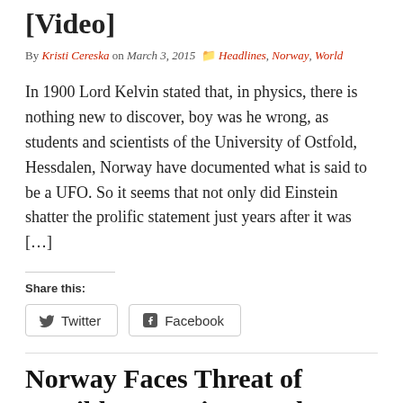[Video]
By Kristi Cereska on March 3, 2015  Headlines, Norway, World
In 1900 Lord Kelvin stated that, in physics, there is nothing new to discover, boy was he wrong, as students and scientists of the University of Ostfold, Hessdalen, Norway have documented what is said to be a UFO. So it seems that not only did Einstein shatter the prolific statement just years after it was […]
Share this:
Twitter
Facebook
Norway Faces Threat of Possible Terrorist Attack Within Days